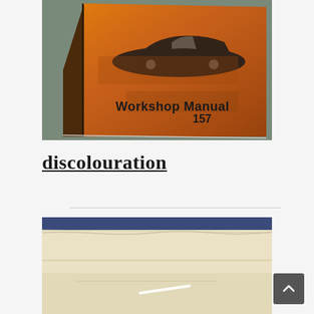[Figure (photo): Close-up photo of an orange-colored book cover showing 'Workshop Manual 157' text and an illustration of a sports car on a worn, discolored cover]
discolouration
[Figure (photo): Close-up photo of aged, discolored paper pages showing yellowing/cream-colored paper with a blue spine visible at top, demonstrating paper discolouration]